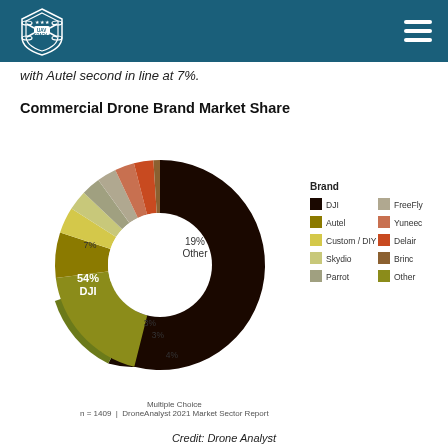UAV Coach
with Autel second in line at 7%.
Commercial Drone Brand Market Share
[Figure (donut-chart): Commercial Drone Brand Market Share]
Multiple Choice
n = 1409  |  DroneAnalyst 2021 Market Sector Report
Credit: Drone Analyst